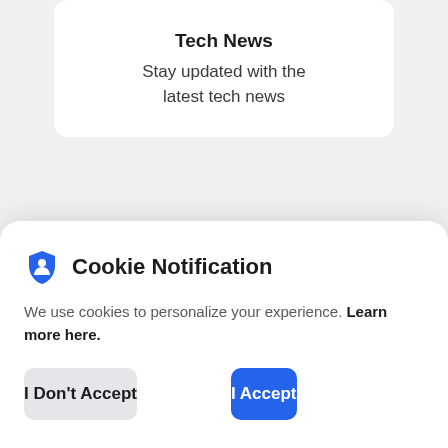Tech News
Stay updated with the latest tech news
Our Mission: Help You Find the
Cookie Notification
We use cookies to personalize your experience. Learn more here.
I Don't Accept
I Accept